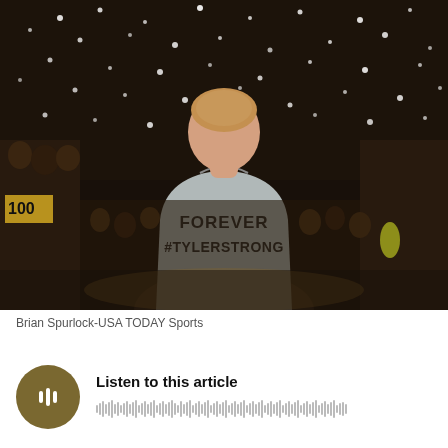[Figure (photo): A basketball player seen from behind wearing a gray shirt that reads 'FOREVER #TYLERSTRONG', standing on a court in front of a large audience with phone flashlights lit up in a darkened arena.]
Brian Spurlock-USA TODAY Sports
[Figure (other): Audio player widget with a dark gold circular play button and a waveform visualization, with title 'Listen to this article']